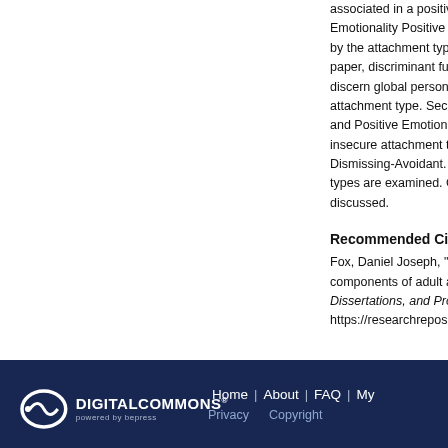associated in a positive direction. Emotionality Positive Emotionality by the attachment type measure paper, discriminant function an discern global personality varia attachment type. Secure attac and Positive Emotionality and insecure attachment types wer Dismissing-Avoidant. This find types are examined. Clinical ap discussed.
Recommended Citation
Fox, Daniel Joseph, "Attachment, components of adult attachment i Dissertations, and Problem Repo https://researchrepository.wvu.ed
Home | About | FAQ | My Privacy  Copyright  DIGITAL COMMONS powered by bepress